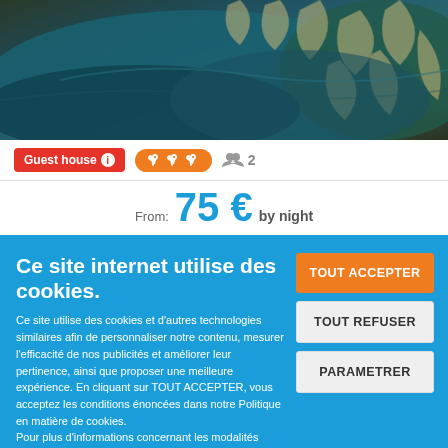[Figure (photo): Photo of decorative cushions/pillows with dark teal and botanical leaf pattern textile, cropped top portion visible]
Guest house ℹ  🔑🔑🔑  👥 2
From: 75 € by night
Ce site internet utilise des cookies.
Ce site utilise des cookies et d'autres technologies similaires afin de personnaliser notre contenu, mesurer l'efficacité de nos publicités et améliorer leur pertinence, ainsi que proposer une meilleure expérience. En cliquant sur TOUT ACCEPTER, vous acceptez les conditions énoncées dans notre Politique en matière de cookies.
Pour plus d'informations concernant les modalités d'utilisation des cookies, consultez notre politique de confidentialité.
Pour modifier vos préférences, vous devez mettre paramétrer vos préférences de cookies.
TOUT ACCEPTER
TOUT REFUSER
PARAMETRER